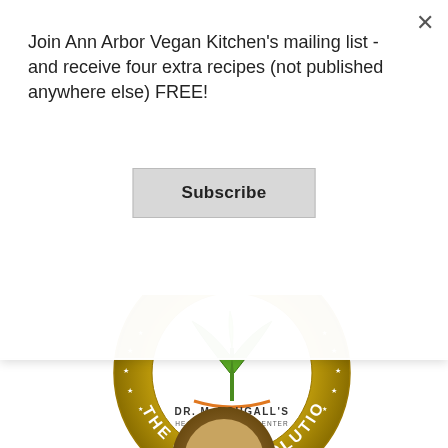Join Ann Arbor Vegan Kitchen's mailing list - and receive four extra recipes (not published anywhere else) FREE!
Subscribe
[Figure (logo): Dr. McDougall's Health & Medical Center - The Starch Solution circular gold badge logo with green plant icon in center]
[Figure (logo): Partially visible circular brown badge/logo at bottom of page]